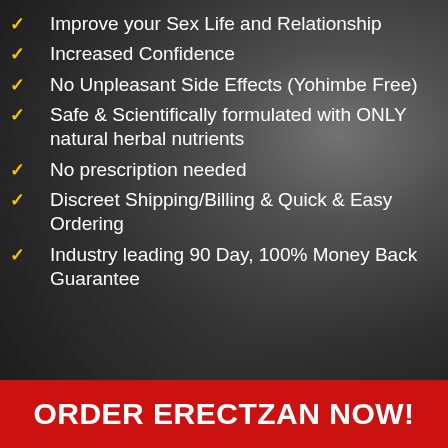Improve your Sex Life and Relationship
Increased Confidence
No Unpleasant Side Effects (Yohimbe Free)
Safe & Scientifically formulated with ONLY natural herbal nutrients
No prescription needed
Discreet Shipping/Billing & Quick & Easy Ordering
Industry leading 90 Day, 100% Money Back Guarantee
ORDER ERECTZAN NOW!